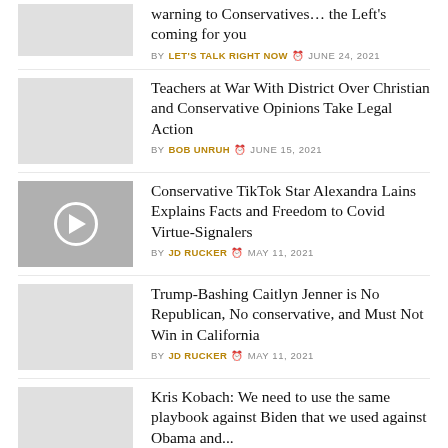warning to Conservatives... the Left's coming for you
BY LET'S TALK RIGHT NOW  JUNE 24, 2021
Teachers at War With District Over Christian and Conservative Opinions Take Legal Action
BY BOB UNRUH  JUNE 15, 2021
Conservative TikTok Star Alexandra Lains Explains Facts and Freedom to Covid Virtue-Signalers
BY JD RUCKER  MAY 11, 2021
Trump-Bashing Caitlyn Jenner is No Republican, No conservative, and Must Not Win in California
BY JD RUCKER  MAY 11, 2021
Kris Kobach: We need to use the same playbook against Biden that we used against Obama and...